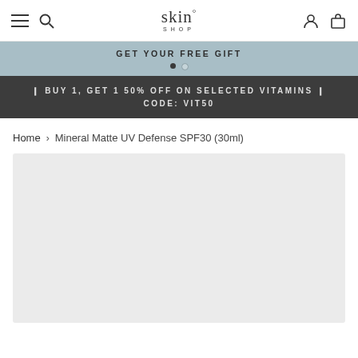skin° SHOP — navigation header with hamburger menu, search, logo, account and cart icons
GET YOUR FREE GIFT
❙ BUY 1, GET 1 50% OFF ON SELECTED VITAMINS ❙ CODE: VIT50
Home > Mineral Matte UV Defense SPF30 (30ml)
[Figure (photo): Light grey product image placeholder area]